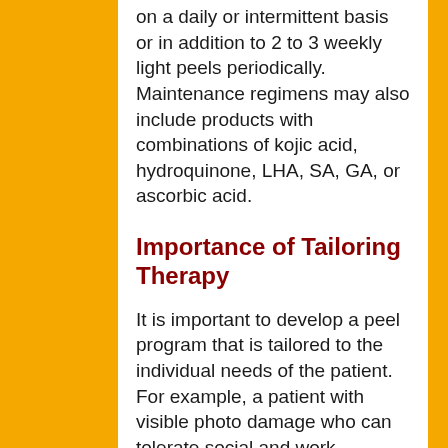on a daily or intermittent basis or in addition to 2 to 3 weekly light peels periodically. Maintenance regimens may also include products with combinations of kojic acid, hydroquinone, LHA, SA, GA, or ascorbic acid.
Importance of Tailoring Therapy
It is important to develop a peel program that is tailored to the individual needs of the patient. For example, a patient with visible photo damage who can tolerate social and work downtime may be treated with a 35% TCA peel while another patient may be better